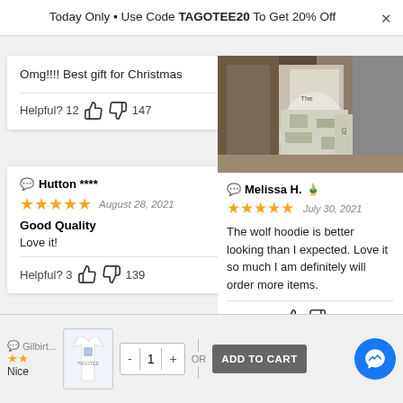Today Only 🎁 Use Code TAGOTEE20 To Get 20% Off
Omg!!!! Best gift for Christmas
Helpful? 12 👍 👎 147
Hutton **** — August 28, 2021
Good Quality
Love it!
Helpful? 3 👍 👎 139
[Figure (photo): Person wearing a wolf hoodie]
Melissa H. 🏅 — July 30, 2021 — The wolf hoodie is better looking than I expected. Love it so much I am definitely will order more items.
Helpful? 8 👍 👎 21
Gilbirt... Nice
ADD TO CART